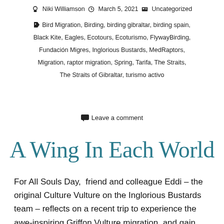Niki Williamson  March 5, 2021  Uncategorized
Bird Migration, Birding, birding gibraltar, birding spain, Black Kite, Eagles, Ecotours, Ecoturismo, FlywayBirding, Fundación Migres, Inglorious Bustards, MedRaptors, Migration, raptor migration, Spring, Tarifa, The Straits, The Straits of Gibraltar, turismo activo
Leave a comment
A Wing In Each World
For All Souls Day,  friend and colleague Eddi – the original Culture Vulture on the Inglorious Bustards team – reflects on a recent trip to experience the awe-inspiring Griffon Vulture migration, and gain